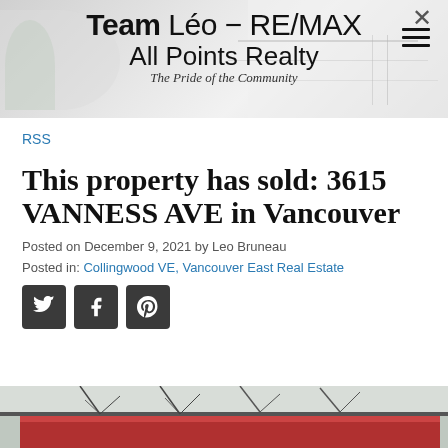Team Léo - RE/MAX All Points Realty – The Pride of the Community
RSS
This property has sold: 3615 VANNESS AVE in Vancouver
Posted on December 9, 2021 by Leo Bruneau
Posted in: Collingwood VE, Vancouver East Real Estate
[Figure (other): Social share icons: Twitter, Facebook, Pinterest]
[Figure (photo): Partial photo of a property at 3615 Vanness Ave, showing rooftop with bare tree branches against a winter sky, and a red roof structure visible at the bottom.]